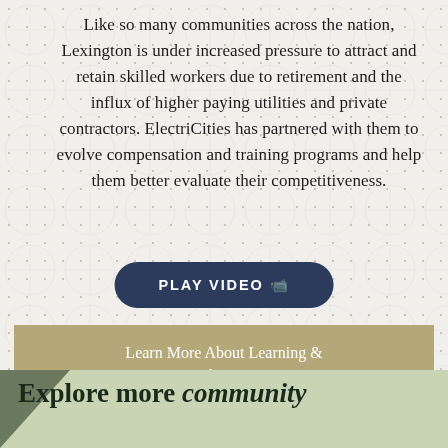Like so many communities across the nation, Lexington is under increased pressure to attract and retain skilled workers due to retirement and the influx of higher paying utilities and private contractors. ElectriCities has partnered with them to evolve compensation and training programs and help them better evaluate their competitiveness.
PLAY VIDEO 🎥
Learn More About Learning & Development »
Explore more community